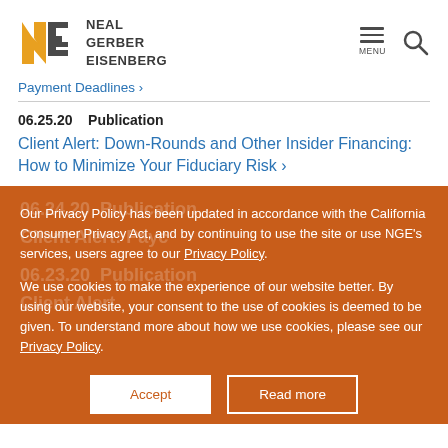Neal Gerber Eisenberg
Payment Deadlines ›
06.25.20  Publication
Client Alert: Down-Rounds and Other Insider Financing: How to Minimize Your Fiduciary Risk ›
Our Privacy Policy has been updated in accordance with the California Consumer Privacy Act, and by continuing to use the site or use NGE's services, users agree to our Privacy Policy.
We use cookies to make the experience of our website better. By using our website, your consent to the use of cookies is deemed to be given. To understand more about how we use cookies, please see our Privacy Policy.